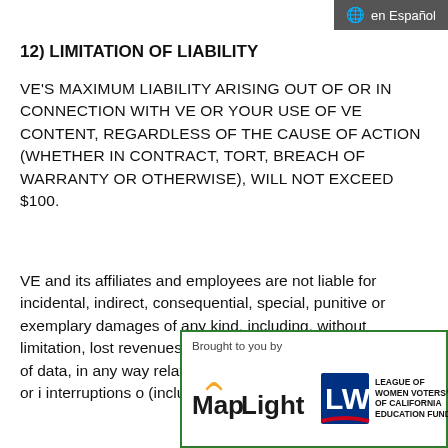en Español
12) LIMITATION OF LIABILITY
VE'S MAXIMUM LIABILITY ARISING OUT OF OR IN CONNECTION WITH VE OR YOUR USE OF VE CONTENT, REGARDLESS OF THE CAUSE OF ACTION (WHETHER IN CONTRACT, TORT, BREACH OF WARRANTY OR OTHERWISE), WILL NOT EXCEED $100.
VE and its affiliates and employees are not liable for incidental, indirect, consequential, special, punitive or exemplary damages of any kind, including, without limitation, lost revenues or profits, loss of business or loss of data, in any way related to this site or for any claim, loss or interruptions o (including, wit
[Figure (logo): Brought to you by MapLight and League of Women Voters of California Education Fund logos]